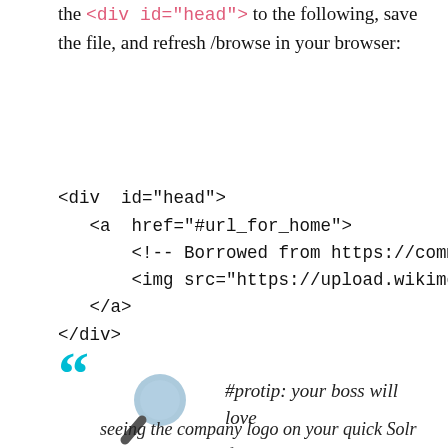/velocity/layout.vm with a text editor, change the <div id="head"> to the following, save the file, and refresh /browse in your browser:
<div id="head">
    <a href="#url_for_home">
        <!-- Borrowed from https://commons.w
        <img src="https://upload.wikimedia.o
    </a>
</div>
[Figure (illustration): Magnifying glass icon with teal/grey coloring]
#protip: your boss will love seeing the company logo on your quick Solr prototype.  Don't forget the colors too: the CSS styles can be customized in head.vm.